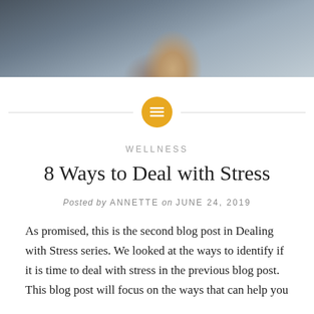[Figure (photo): Partial view of a person in dark clothing against a blurred outdoor background, top portion of a blog post hero image]
WELLNESS
8 Ways to Deal with Stress
Posted by ANNETTE on JUNE 24, 2019
As promised, this is the second blog post in Dealing with Stress series. We looked at the ways to identify if it is time to deal with stress in the previous blog post. This blog post will focus on the ways that can help you